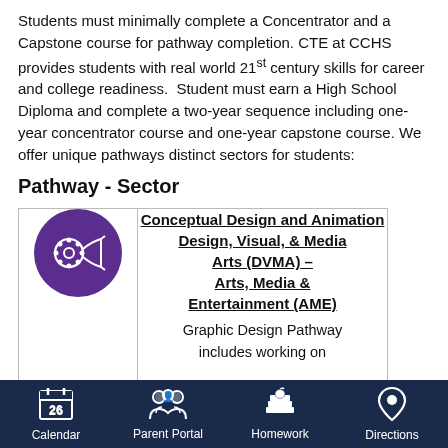Students must minimally complete a Concentrator and a Capstone course for pathway completion. CTE at CCHS provides students with real world 21st century skills for career and college readiness. Student must earn a High School Diploma and complete a two-year sequence including one-year concentrator course and one-year capstone course. We offer unique pathways distinct sectors for students:
Pathway - Sector
| [icon] | Course Info |
| --- | --- |
| [film/media icon] | Conceptual Design and Animation
Design, Visual, & Media Arts (DVMA) –
Arts, Media & Entertainment (AME)
Graphic Design Pathway includes working on conceptual design techniques and skills; incorporates |
Calendar  Parent Portal  Homework  Directions